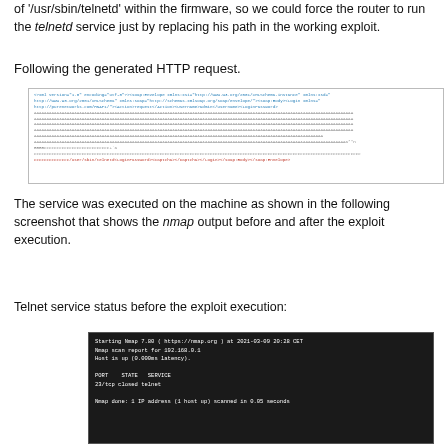of '/usr/sbin/telnetd' within the firmware, so we could force the router to run the telnetd service just by replacing his path in the working exploit.
Following the generated HTTP request.
[Figure (screenshot): HTTP request code block showing XML SOAP request with AAAA padding and path /user/sbin/telnetd]
The service was executed on the machine as shown in the following screenshot that shows the nmap output before and after the exploit execution.
Telnet service status before the exploit execution:
[Figure (screenshot): Terminal showing Nmap 7.80 scan of 192.168.0.1, HOST up, PORT 23/tcp closed telnet, Nmap done: 1 IP address (1 host up) scanned in 0.05 seconds]